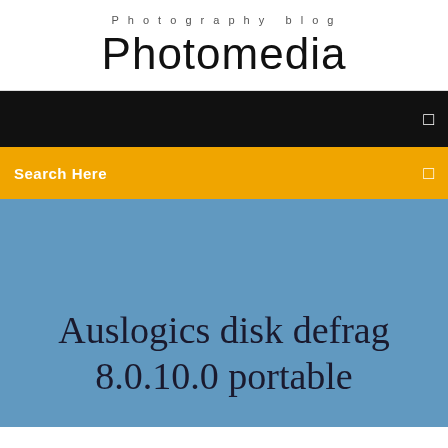Photography blog
Photomedia
[Figure (screenshot): Black navigation bar with a small square icon on the right]
Search Here
Auslogics disk defrag 8.0.10.0 portable